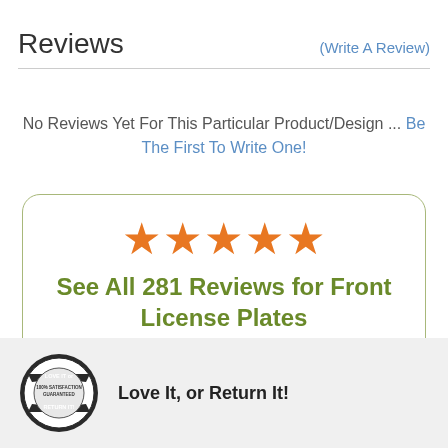Reviews
(Write A Review)
No Reviews Yet For This Particular Product/Design ... Be The First To Write One!
[Figure (infographic): Rounded box with 5 orange stars and green text: See All 281 Reviews for Front License Plates]
[Figure (logo): 100% Satisfaction Guaranteed stamp/badge logo]
Love It, or Return It!